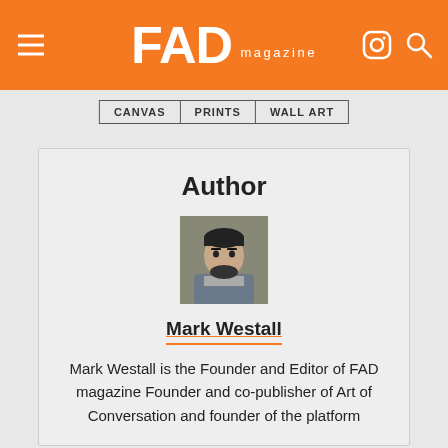FAD magazine
CANVAS | PRINTS | WALL ART
Author
[Figure (photo): Headshot photo of Mark Westall, a man with dark hair and beard]
Mark Westall
Mark Westall is the Founder and Editor of FAD magazine Founder and co-publisher of Art of Conversation and founder of the platform